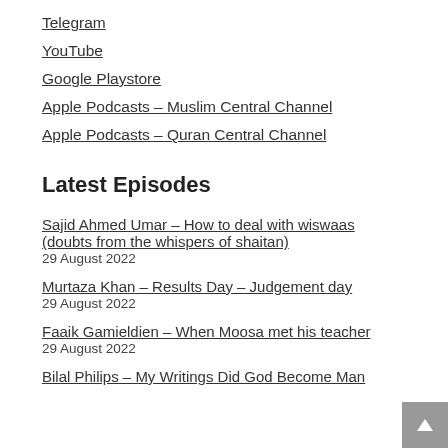Telegram
YouTube
Google Playstore
Apple Podcasts – Muslim Central Channel
Apple Podcasts – Quran Central Channel
Latest Episodes
Sajid Ahmed Umar – How to deal with wiswaas (doubts from the whispers of shaitan)
29 August 2022
Murtaza Khan – Results Day – Judgement day
29 August 2022
Faaik Gamieldien – When Moosa met his teacher
29 August 2022
Bilal Philips – My Writings Did God Become Man